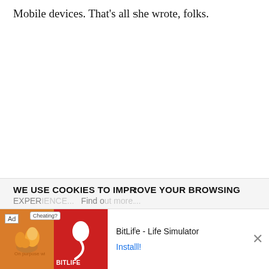Mobile devices. That's all she wrote, folks.
The HP Elite x3 has already failed. I declined to review the well-made but pointless HP Elite x3 for a good reason: No one should be shackled by the
WE USE COOKIES TO IMPROVE YOUR BROWSING
EXPER... Find o...
[Figure (screenshot): Ad banner for BitLife - Life Simulator app, showing an Ad label, a muscle emoji illustration on orange background, a sperm logo on red background with BITLIFE text, app name 'BitLife - Life Simulator', and an Install! button. A close (X) button is on the right.]